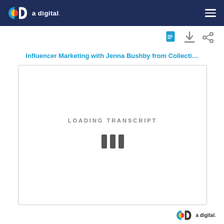a digital.
[Figure (screenshot): Icons row: document icon, download icon, share icon]
Influencer Marketing with Jenna Bushby from Collecti…
LOADING TRANSCRIPT
[Figure (infographic): Three vertical loading bars indicator]
a digital.